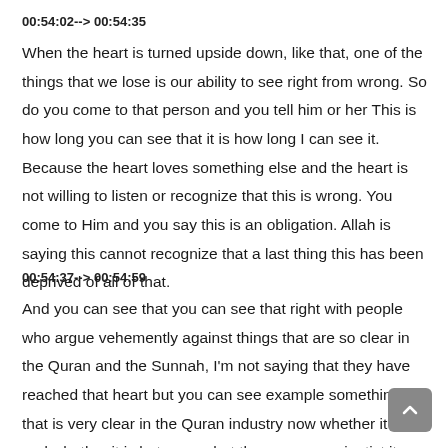00:54:02--> 00:54:35
When the heart is turned upside down, like that, one of the things that we lose is our ability to see right from wrong. So do you come to that person and you tell him or her This is how long you can see that it is how long I can see it. Because the heart loves something else and the heart is not willing to listen or recognize that this is wrong. You come to Him and you say this is an obligation. Allah is saying this cannot recognize that a last thing this has been deprived of all of that.
00:54:37--> 00:54:59
And you can see that you can see that right with people who argue vehemently against things that are so clear in the Quran and the Sunnah, I'm not saying that they have reached that heart but you can see example something that is very clear in the Quran industry now whether it but and whether it is between what the common scientist it...